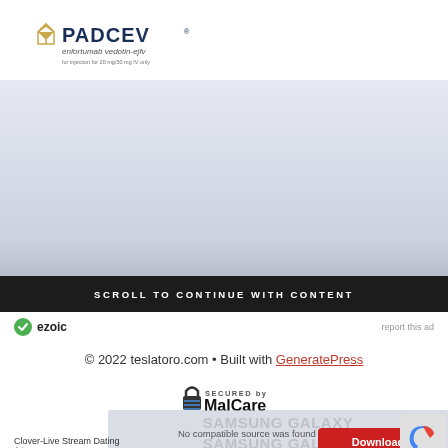[Figure (logo): PADCEV logo with enfortumab vedotin-ejfv product name and dosage information]
[Figure (photo): Advertisement banner with light blue-grey gradient background]
SCROLL TO CONTINUE WITH CONTENT
[Figure (logo): Ezoic logo with green checkmark circle]
report this ad
© 2022 teslatoro.com • Built with GeneratePress
[Figure (logo): Secured by MalCare badge with padlock icon]
[Figure (screenshot): Video ad overlay showing Samsung Galaxy text watermark with 'No compatible source was found for this media.' message and Download button, plus Clover-Live Stream Dating app ad]
Clover-Live Stream Dating
Ad